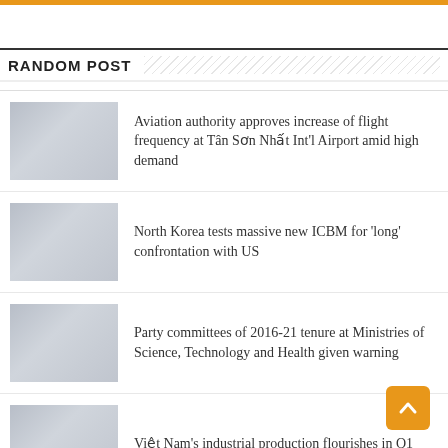RANDOM POST
Aviation authority approves increase of flight frequency at Tân Sơn Nhất Int'l Airport amid high demand
North Korea tests massive new ICBM for 'long' confrontation with US
Party committees of 2016-21 tenure at Ministries of Science, Technology and Health given warning
Việt Nam's industrial production flourishes in Q1